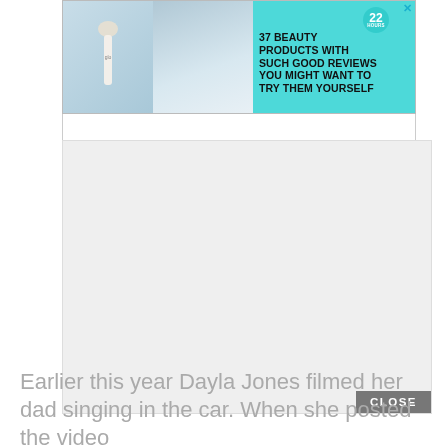[Figure (screenshot): Advertisement banner with teal background showing beauty products. Left side has product images (nail polish bottle and woman with curly hair). Right side has teal numbered badge '22' and bold text '37 BEAUTY PRODUCTS WITH SUCH GOOD REVIEWS YOU MIGHT WANT TO TRY THEM YOURSELF'. Close X button in top-right corner.]
[Figure (screenshot): Large light gray modal/overlay box with a dark gray CLOSE button at the bottom right.]
Earlier this year Dayla Jones filmed her dad singing in the car. When she posted the video